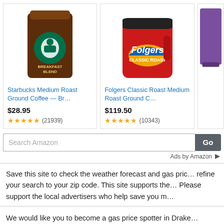[Figure (screenshot): Amazon product listing card for Starbucks Medium Roast Ground Coffee — Br..., price $28.95, 4.5 stars (21939 reviews)]
[Figure (screenshot): Amazon product listing card for Folgers Classic Roast Medium Roast Ground C..., price $119.50, 4.5 stars (10343 reviews)]
[Figure (screenshot): Partially visible Amazon product listing card showing a purple item]
[Figure (screenshot): Search Amazon search bar with Go button and Ads by Amazon label]
Save this site to check the weather forecast and gas pric... refine your search to your zip code. This site supports the... Please support the local advertisers who help save you m...
We would like you to become a gas price spotter in Drake...